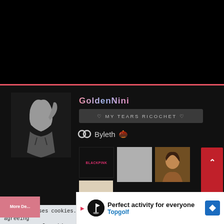[Figure (screenshot): Social media profile page screenshot showing user GoldenNini with profile picture, status MY TEARS RICOCHET, Byleth character tag, BLACKPINK and other thumbnails, cookie consent notice, and Topgolf advertisement]
GoldenNini
♡ MY TEARS RICOCHET ♡
Byleth 🌰
BLACKPINK
This site uses cookies. By continuing to browse this site, you are agreeing to our use of cookies.
Perfect activity for everyone Topgolf